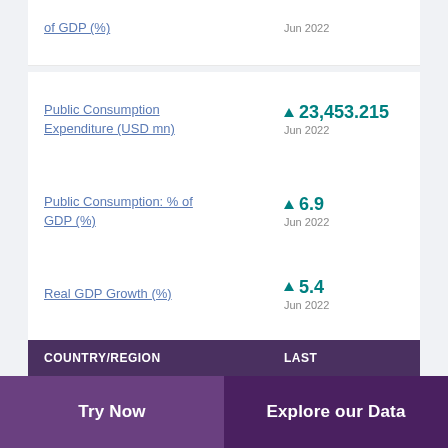of GDP (%) | Jun 2022
Public Consumption Expenditure (USD mn) | ▲ 23,453.215 | Jun 2022
Public Consumption: % of GDP (%) | ▲ 6.9 | Jun 2022
Real GDP Growth (%) | ▲ 5.4 | Jun 2022
Total Trade of Goods & Services: % of Nominal GDP (%) | ▲ 45.178 | Jun 2022
| COUNTRY/REGION | LAST |
| --- | --- |
Try Now
Explore our Data